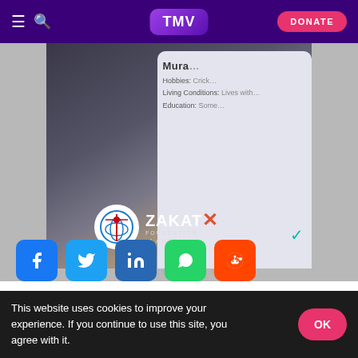TMV | DONATE
[Figure (photo): Advertisement image showing a hand holding a phone with a dating/profile app, overlaid with Zakat Foundation of America logo. Below the image is text: ADVERTISE ON TMV]
ADVERTISE ON TMV
[Figure (infographic): Row of social share buttons: Facebook (blue), Twitter (light blue), LinkedIn (dark blue), WhatsApp (green), Reddit (orange)]
As French Muslims continue to
This website uses cookies to improve your experience. If you continue to use this site, you agree with it.